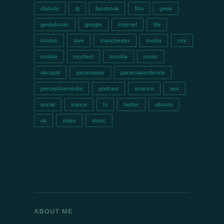diabolo
dj
facebook
film
geek
geekdinner
google
internet
life
london
love
manchester
media
mix
mobile
mozfest
mozilla
music
okcupid
pacemaker
pacemakerdevice
perceptivemedia
podcast
science
sex
social
trance
tv
twitter
ubuntu
uk
video
xbmc
ABOUT ME